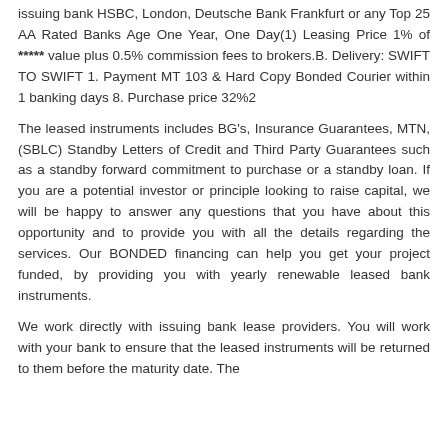issuing bank HSBC, London, Deutsche Bank Frankfurt or any Top 25 AA Rated Banks Age One Year, One Day(1) Leasing Price 1% of ***** value plus 0.5% commission fees to brokers.B. Delivery: SWIFT TO SWIFT 1. Payment MT 103 & Hard Copy Bonded Courier within 1 banking days 8. Purchase price 32%2
The leased instruments includes BG's, Insurance Guarantees, MTN,(SBLC) Standby Letters of Credit and Third Party Guarantees such as a standby forward commitment to purchase or a standby loan. If you are a potential investor or principle looking to raise capital, we will be happy to answer any questions that you have about this opportunity and to provide you with all the details regarding the services. Our BONDED financing can help you get your project funded, by providing you with yearly renewable leased bank instruments.
We work directly with issuing bank lease providers. You will work with your bank to ensure that the leased instruments will be returned to them before the maturity date. The